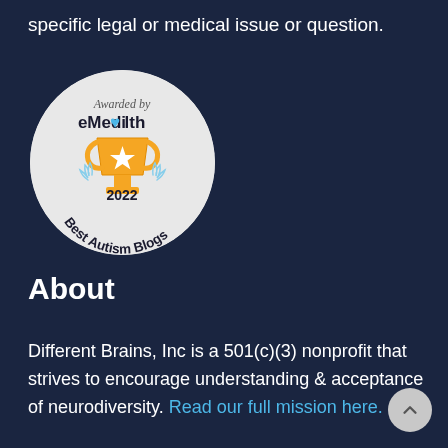specific legal or medical issue or question.
[Figure (logo): Circular badge awarded by eMediHealth for 2022 Best Autism Blogs, featuring a gold trophy with a star, blue laurel leaves, and curved text along the bottom.]
About
Different Brains, Inc is a 501(c)(3) nonprofit that strives to encourage understanding & acceptance of neurodiversity. Read our full mission here.